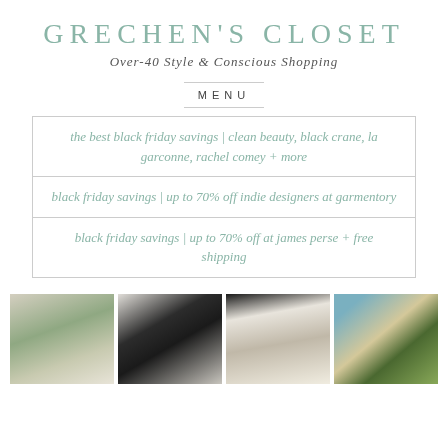GRECHEN'S CLOSET
Over-40 Style & Conscious Shopping
MENU
the best black friday savings | clean beauty, black crane, la garconne, rachel comey + more
black friday savings | up to 70% off indie designers at garmentory
black friday savings | up to 70% off at james perse + free shipping
[Figure (photo): Woman in green top and light pants taking a mirror selfie]
[Figure (photo): Woman in black sports bra and biker shorts taking a mirror selfie]
[Figure (photo): Close-up of coffee drinks on a table]
[Figure (photo): Woman in tan jacket standing outdoors among yellow wildflowers]